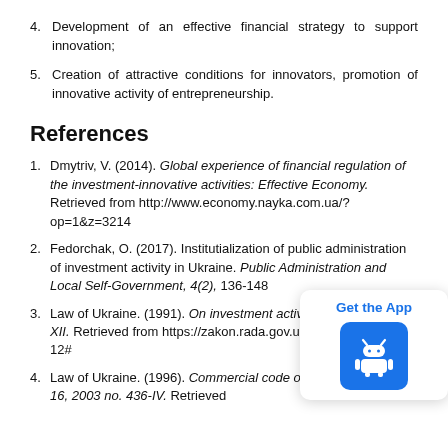4. Development of an effective financial strategy to support innovation;
5. Creation of attractive conditions for innovators, promotion of innovative activity of entrepreneurship.
References
1. Dmytriv, V. (2014). Global experience of financial regulation of the investment-innovative activities: Effective Economy. Retrieved from http://www.economy.nayka.com.ua/?op=1&z=3214
2. Fedorchak, O. (2017). Institutialization of public administration of investment activity in Ukraine. Public Administration and Local Self-Government, 4(2), 136-148
3. Law of Ukraine. (1991). On investment activity of... 18, no. 1560-XII. Retrieved from https://zakon.rada.gov.ua/laws/show/1560-12#
4. Law of Ukraine. (1996). Commercial code of Ukraine of January 16, 2003 no. 436-IV. Retrieved